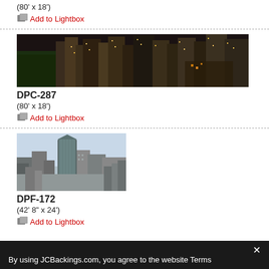(80' x 18')
Add to Lightbox
[Figure (photo): Nighttime panoramic cityscape with skyscrapers lit up against dark sky, trees visible at left]
DPC-287
(80' x 18')
Add to Lightbox
[Figure (photo): Daytime aerial cityscape showing tall modern skyscraper in center with surrounding buildings and hazy sky]
DPF-172
(42' 8" x 24')
Add to Lightbox
By using JCBackings.com, you agree to the website Terms